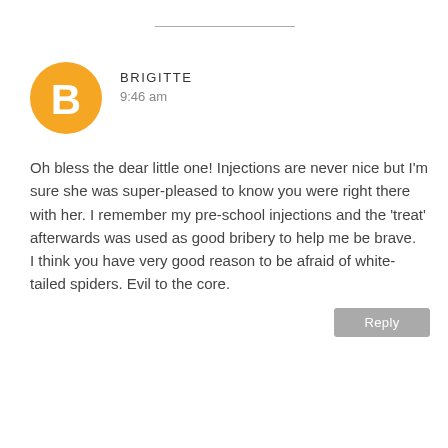[Figure (illustration): Blogger avatar - orange circle with white 'B' letter icon]
BRIGITTE
9:46 am
Oh bless the dear little one! Injections are never nice but I'm sure she was super-pleased to know you were right there with her. I remember my pre-school injections and the 'treat' afterwards was used as good bribery to help me be brave.
I think you have very good reason to be afraid of white-tailed spiders. Evil to the core.
Reply